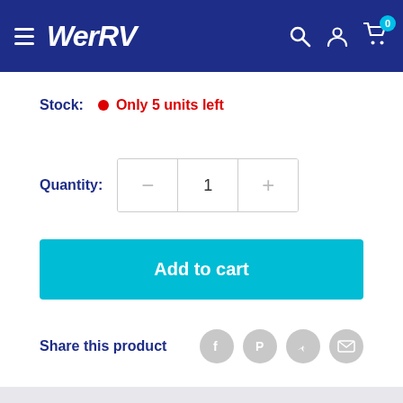WerRV
Stock: Only 5 units left
Quantity: 1
Add to cart
Share this product